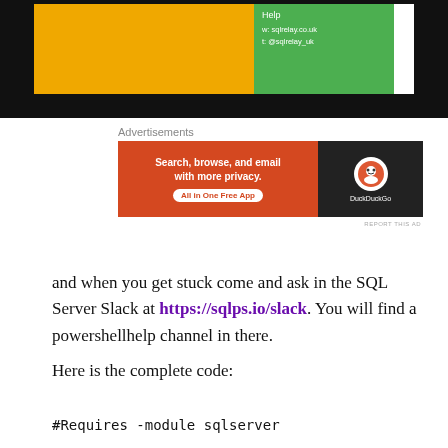[Figure (screenshot): Top portion of a slide or webpage showing a yellow block and a green block with sqlrelay.co.uk and @sqlrelay_uk text, on a black background]
Advertisements
[Figure (screenshot): DuckDuckGo advertisement banner: orange left side with text 'Search, browse, and email with more privacy. All in One Free App' and dark right side with DuckDuckGo logo]
REPORT THIS AD
and when you get stuck come and ask in the SQL Server Slack at https://sqlps.io/slack. You will find a powershellhelp channel in there.
Here is the complete code:
#Requires -module sqlserver